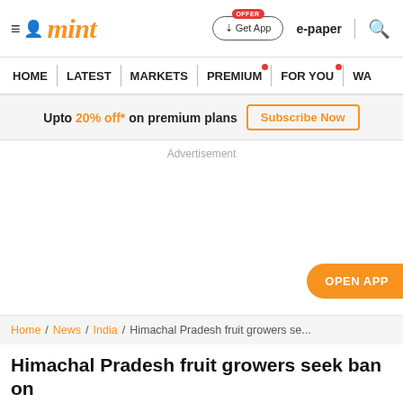mint
HOME | LATEST | MARKETS | PREMIUM | FOR YOU | WA...
Upto 20% off* on premium plans  Subscribe Now
Advertisement
OPEN APP
Home / News / India / Himachal Pradesh fruit growers se...
Himachal Pradesh fruit growers seek ban on